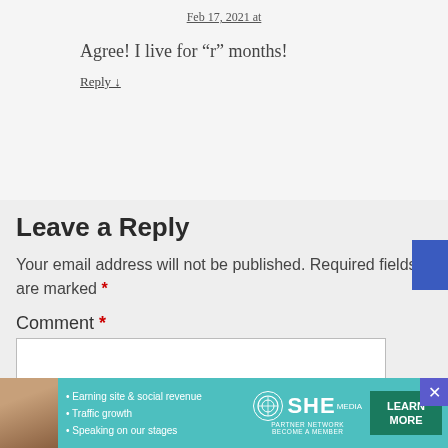Feb 17, 2021 at
Agree! I live for “r” months!
Reply ↓
Leave a Reply
Your email address will not be published. Required fields are marked *
Comment *
[Figure (infographic): SHE Partner Network advertisement banner with woman photo, bullet points about earning site & social revenue, traffic growth, speaking on our stages, SHE logo, and LEARN MORE button]